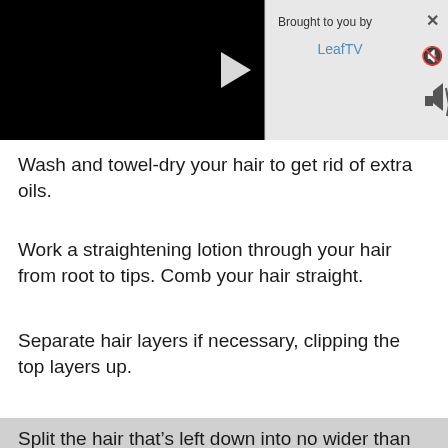[Figure (screenshot): Video player with black background showing a play button triangle in the center, with an overlay panel on the right showing 'Brought to you by' text, 'LeafTV' link in blue, an X close button, and a mute icon]
Wash and towel-dry your hair to get rid of extra oils.
Work a straightening lotion through your hair from root to tips. Comb your hair straight.
Separate hair layers if necessary, clipping the top layers up.
Split the hair that's left down into no wider than 3-inch sections, starting with the very back of